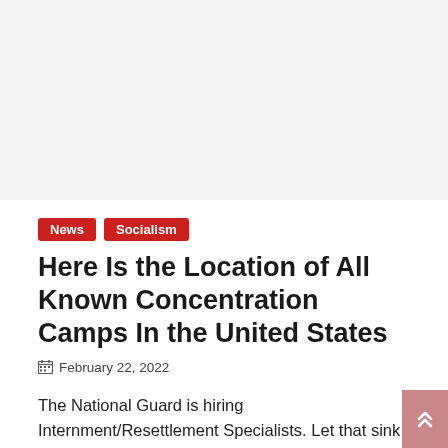[Figure (other): Light gray placeholder/advertisement area at the top of the page]
News  Socialism
Here Is the Location of All Known Concentration Camps In the United States
February 22, 2022
The National Guard is hiring Internment/Resettlement Specialists. Let that sink in. Editor's Note: The National Guard removed the job listing. However, we